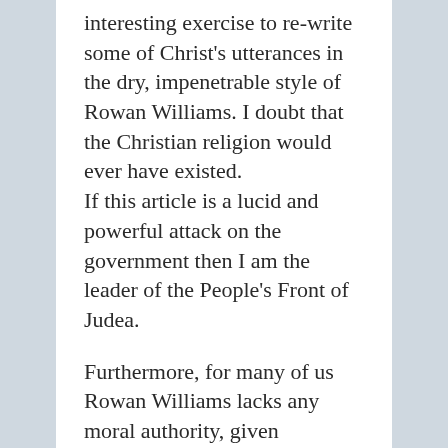interesting exercise to re-write some of Christ's utterances in the dry, impenetrable style of Rowan Williams. I doubt that the Christian religion would ever have existed. If this article is a lucid and powerful attack on the government then I am the leader of the People's Front of Judea.
Furthermore, for many of us Rowan Williams lacks any moral authority, given